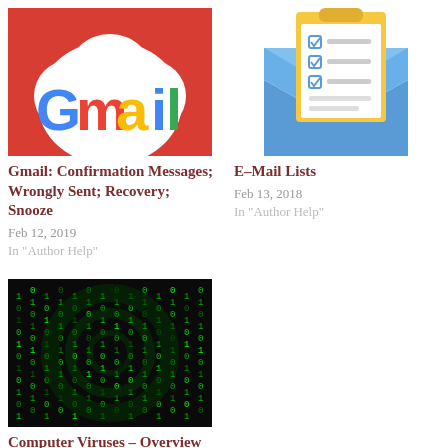[Figure (illustration): Gmail logo with red background and white cloud shape]
Gmail: Confirmation Messages; Wrongly Sent; Recovery; Snooze
Feb 12, 2019
In "Author Help"
[Figure (illustration): Email list icon: blue envelope with clipboard showing checklist items]
E–Mail Lists
Feb 13, 2018
In "Author Help"
[Figure (photo): Matrix-style green digital code rain on dark background with circular pattern]
Computer Viruses – Overview
Jan 16, 2018
In "Author Help"